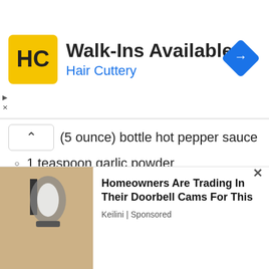[Figure (infographic): Hair Cuttery advertisement banner with yellow logo, Walk-Ins Available headline, and navigation arrow icon]
(5 ounce) bottle hot pepper sauce
1 teaspoon garlic powder
Reparation :
1. Trim the roast of any excess fat, and season with salt and pepper. Heat olive oil in a large skillet over medium-high heat. Place the beef in the hot skillet, and brown it quickly on all sides.
[Figure (infographic): Bottom advertisement: Homeowners Are Trading In Their Doorbell Cams For This, Keilini Sponsored, with photo of outdoor wall lamp]